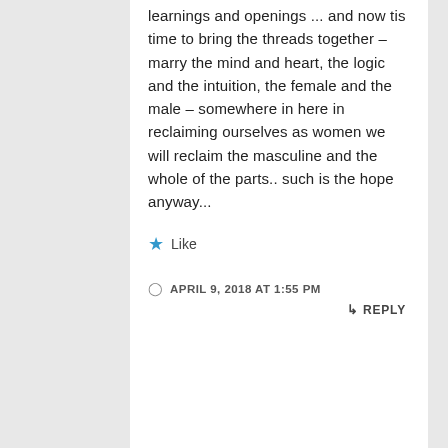learnings and openings ... and now tis time to bring the threads together – marry the mind and heart, the logic and the intuition, the female and the male – somewhere in here in reclaiming ourselves as women we will reclaim the masculine and the whole of the parts.. such is the hope anyway...
★ Like
APRIL 9, 2018 AT 1:55 PM
↳ REPLY